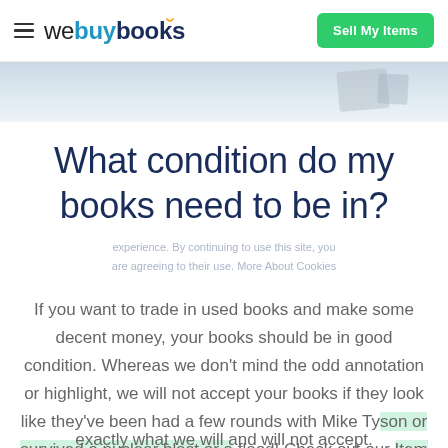webuybooks — Sell My Items
[Figure (photo): Partial image strip showing what appears to be books, partially visible at the top of the page below the header navigation.]
What condition do my books need to be in?
If you want to trade in used books and make some decent money, your books should be in good condition. Whereas we don't mind the odd annotation or highlight, we will not accept your books if they look like they've been had a few rounds with Mike Tyson or survived a nuclear blast or a flood! Check out our Item Condition Guidelines to find out exactly what we will and will not accept.